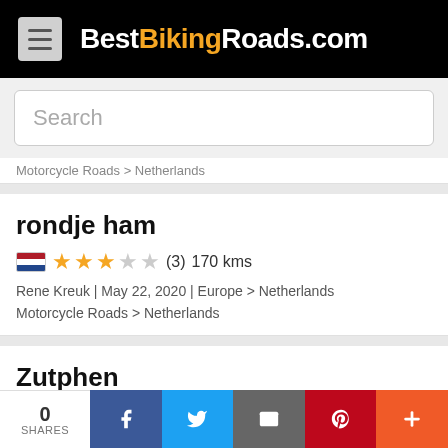BestBikingRoads.com
Search
Motorcycle Roads > Netherlands
rondje ham
★★★☆☆ (3) 170 kms
Rene Kreuk | May 22, 2020 | Europe > Netherlands Motorcycle Roads > Netherlands
Zutphen
★★★☆☆ (3) 40 kms
0 SHARES